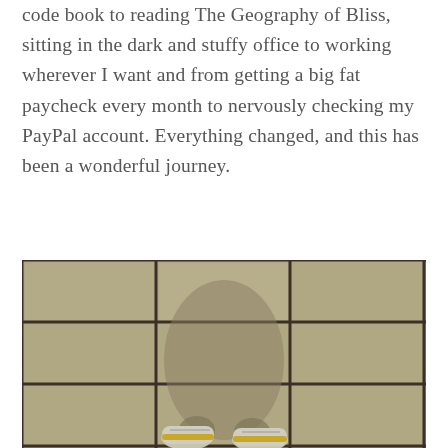code book to reading The Geography of Bliss, sitting in the dark and stuffy office to working wherever I want and from getting a big fat paycheck every month to nervously checking my PayPal account. Everything changed, and this has been a wonderful journey.
[Figure (photo): A top-down photo of a tiled floor with large square tiles and dark grout lines. At the bottom center of the frame, a person's feet wearing yellow and white sneakers (Converse-style) are visible, along with their shadow cast on the tiles.]